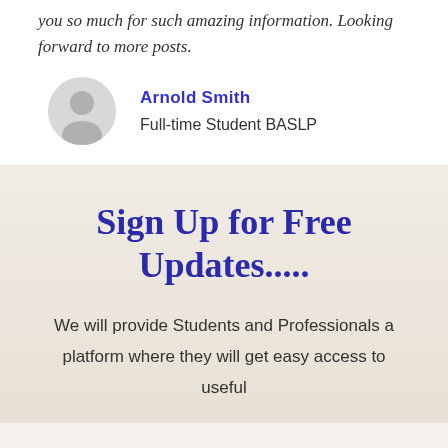you so much for such amazing information. Looking forward to more posts.
Arnold Smith
Full-time Student BASLP
Sign Up for Free Updates.....
We will provide Students and Professionals a platform where they will get easy access to useful